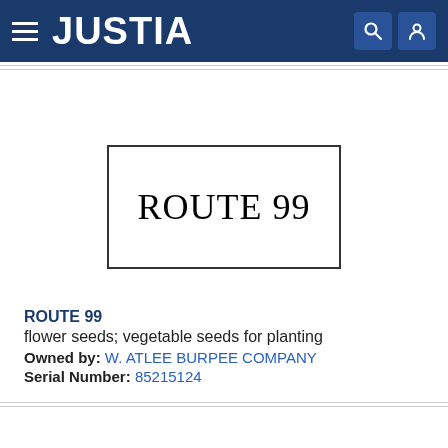JUSTIA
[Figure (illustration): Trademark image showing 'ROUTE 99' text inside a rectangular border box]
ROUTE 99
flower seeds; vegetable seeds for planting
Owned by: W. ATLEE BURPEE COMPANY
Serial Number: 85215124